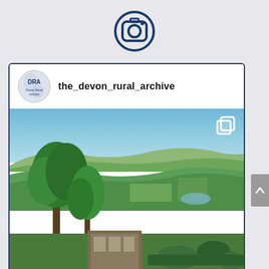[Figure (logo): Instagram icon - navy blue circular camera icon with viewfinder circle and dot]
[Figure (screenshot): Instagram post from the_devon_rural_archive showing a countryside landscape photo of Devon with trees in foreground, rolling green hills and fields in background under a blue sky, with a DRA (Devon Rural Archive) circular avatar logo and copy/multiple-images icon in top right of photo]